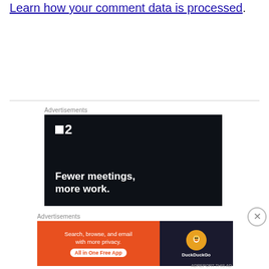Learn how your comment data is processed.
[Figure (screenshot): Advertisement banner for a project management tool (possibly Basecamp/HEY) with dark background showing logo '▪2' and tagline 'Fewer meetings, more work.']
[Figure (screenshot): Advertisement banner for DuckDuckGo showing 'Search, browse, and email with more privacy. All in One Free App' on orange background with DuckDuckGo logo on dark right panel.]